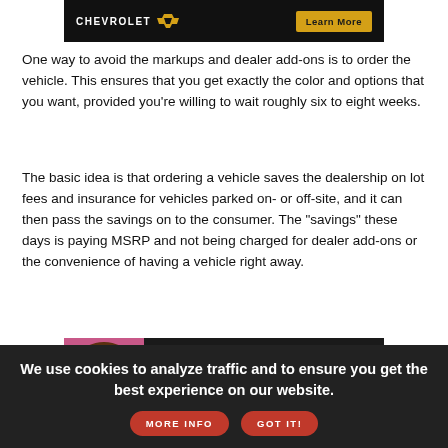[Figure (advertisement): Chevrolet banner ad with logo and 'Learn More' button on dark background]
One way to avoid the markups and dealer add-ons is to order the vehicle. This ensures that you get exactly the color and options that you want, provided you're willing to wait roughly six to eight weeks.
The basic idea is that ordering a vehicle saves the dealership on lot fees and insurance for vehicles parked on- or off-site, and it can then pass the savings on to the consumer. The "savings" these days is paying MSRP and not being charged for dealer add-ons or the convenience of having a vehicle right away.
[Figure (advertisement): Chevrolet LGBTQ Nation 'Authentic Voices of Pride' banner ad on dark background with colorful sound wave graphic and person with curly hair]
Tip: The easiest way to order a vehicle is to use an automaker's website to build the vehicle configuration you want and then send that information to your preferred dealership.
We use cookies to analyze traffic and to ensure you get the best experience on our website.